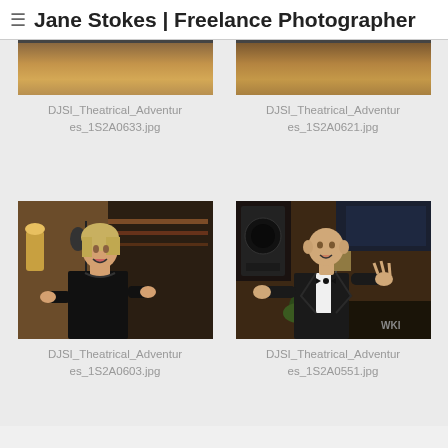Jane Stokes | Freelance Photographer
DJSI_Theatrical_Adventures_1S2A0633.jpg
DJSI_Theatrical_Adventures_1S2A0621.jpg
[Figure (photo): Woman in black dress singing at microphone in elegant venue]
DJSI_Theatrical_Adventures_1S2A0603.jpg
[Figure (photo): Man in tuxedo with bow tie gesturing while performing in elegant venue with piano]
DJSI_Theatrical_Adventures_1S2A0551.jpg